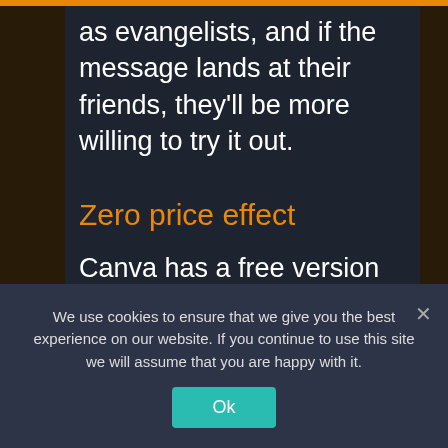as evangelists, and if the message lands at their friends, they'll be more willing to try it out.
Zero price effect
Canva has a free version that
We use cookies to ensure that we give you the best experience on our website. If you continue to use this site we will assume that you are happy with it.